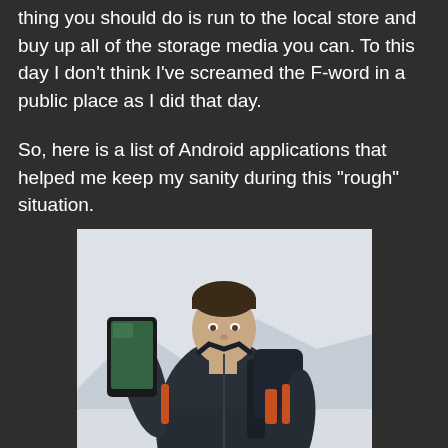thing you should do is run to the local store and buy up all of the storage media you can. To this day I don't think I've screamed the F-word in a public place as I did that day.
So, here is a list of Android applications that helped me keep my sanity during this "rough" situation.
[Figure (photo): A man wearing a dark blue outdoor jacket with orange accents and a backpack, holding up a smartphone toward the camera. He is standing in a snowy, wintry outdoor environment.]